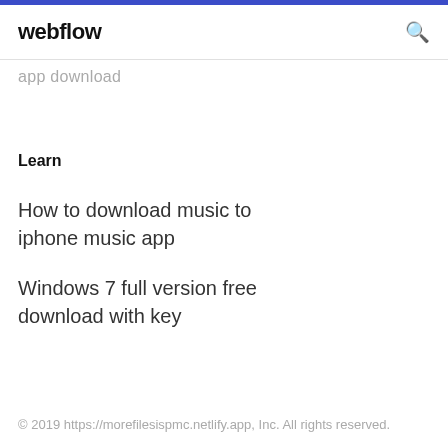webflow
app download
Learn
How to download music to iphone music app
Windows 7 full version free download with key
© 2019 https://morefilesispmc.netlify.app, Inc. All rights reserved.